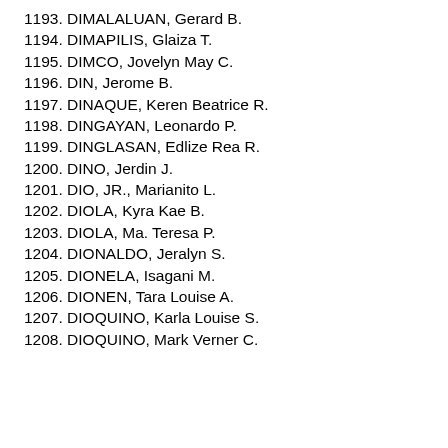1193. DIMALALUAN, Gerard B.
1194. DIMAPILIS, Glaiza T.
1195. DIMCO, Jovelyn May C.
1196. DIN, Jerome B.
1197. DINAQUE, Keren Beatrice R.
1198. DINGAYAN, Leonardo P.
1199. DINGLASAN, Edlize Rea R.
1200. DINO, Jerdin J.
1201. DIO, JR., Marianito L.
1202. DIOLA, Kyra Kae B.
1203. DIOLA, Ma. Teresa P.
1204. DIONALDO, Jeralyn S.
1205. DIONELA, Isagani M.
1206. DIONEN, Tara Louise A.
1207. DIOQUINO, Karla Louise S.
1208. DIOQUINO, Mark Verner C.